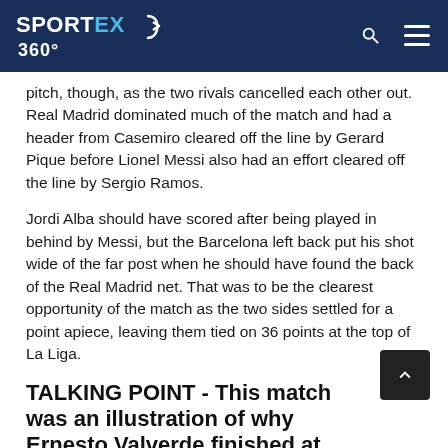SPORTEX 360°
pitch, though, as the two rivals cancelled each other out. Real Madrid dominated much of the match and had a header from Casemiro cleared off the line by Gerard Pique before Lionel Messi also had an effort cleared off the line by Sergio Ramos.
Jordi Alba should have scored after being played in behind by Messi, but the Barcelona left back put his shot wide of the far post when he should have found the back of the Real Madrid net. That was to be the clearest opportunity of the match as the two sides settled for a point apiece, leaving them tied on 36 points at the top of La Liga.
TALKING POINT - This match was an illustration of why Ernesto Valverde finished at Barcelona
The...